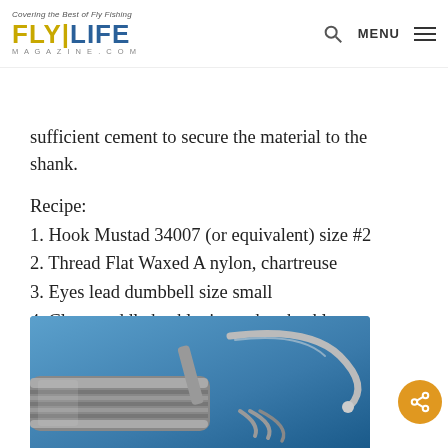FLY LIFE MAGAZINE.COM — Covering the Best of Fly Fishing | MENU
Cascade Crest Tools. You simply wrap the off and trim. NOTE: Be sure to use sufficient cement to secure the material to the shank.
Recipe:
1. Hook Mustad 34007 (or equivalent) size #2
2. Thread Flat Waxed A nylon, chartreuse
3. Eyes lead dumbbell size small
4. Claws saddle hackle tips or hen hackle
5. Flash Pearl Krystal Flash
6. Body CCT Body Material
7. Weed guard 16# Hard Mason
[Figure (photo): Close-up photograph of a fishing hook tool (possibly a whip finisher or similar fly tying tool) against a blue background, showing metal handle and hook tips]